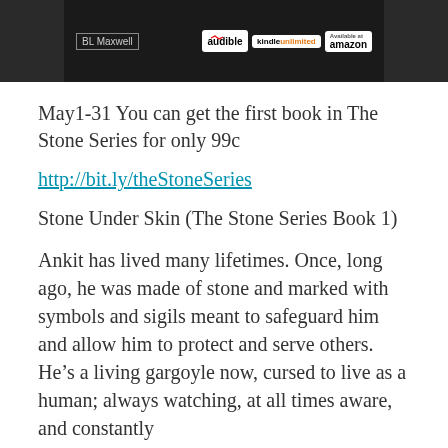[Figure (illustration): Top portion of a book cover image for BL Maxwell's The Stone Series, showing a dark background with the author name and logos for Audible, Kindle Unlimited, and Amazon.]
May1-31 You can get the first book in The Stone Series for only 99c
http://bit.ly/theStoneSeries
Stone Under Skin (The Stone Series Book 1)
Ankit has lived many lifetimes. Once, long ago, he was made of stone and marked with symbols and sigils meant to safeguard him and allow him to protect and serve others. He's a living gargoyle now, cursed to live as a human; always watching, at all times aware, and constantly